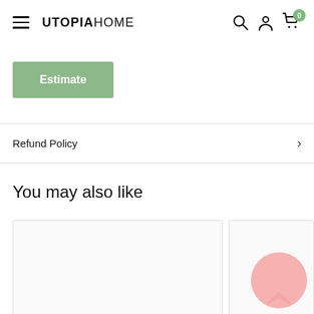UTOPIAHOME
Estimate
Refund Policy
You may also like
[Figure (screenshot): Two product cards partially visible at the bottom of the page]
[Figure (other): Pink circular chat bubble icon on the second product card]